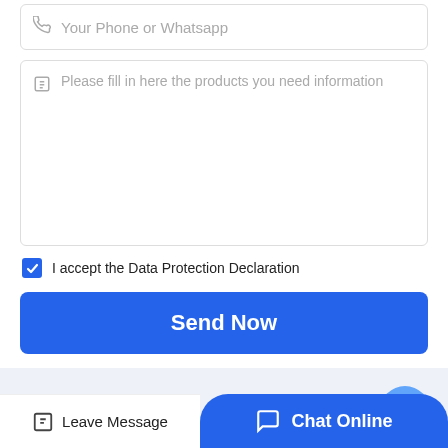[Figure (screenshot): Phone/WhatsApp input field with placeholder text and phone icon, partially visible at top]
[Figure (screenshot): Textarea input field with edit icon and placeholder 'Please fill in here the products you need information']
I accept the Data Protection Declaration
Send Now
Latest News
Manufacturer Of Magnetic S...
Leave Message
Chat Online